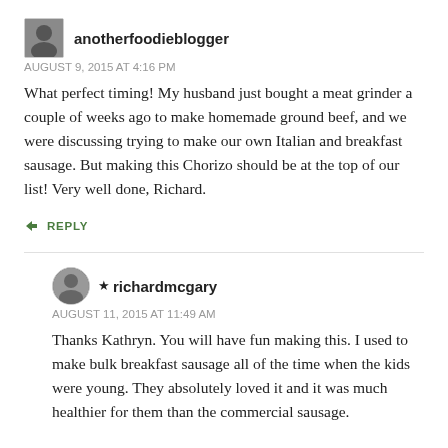anotherfoodieblogger
AUGUST 9, 2015 AT 4:16 PM
What perfect timing! My husband just bought a meat grinder a couple of weeks ago to make homemade ground beef, and we were discussing trying to make our own Italian and breakfast sausage. But making this Chorizo should be at the top of our list! Very well done, Richard.
REPLY
★ richardmcgary
AUGUST 11, 2015 AT 11:49 AM
Thanks Kathryn. You will have fun making this. I used to make bulk breakfast sausage all of the time when the kids were young. They absolutely loved it and it was much healthier for them than the commercial sausage.